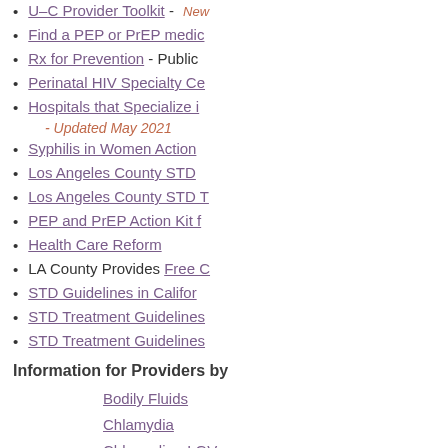U-C Provider Toolkit - New
Find a PEP or PrEP medic...
Rx for Prevention - Public...
Perinatal HIV Specialty Ce...
Hospitals that Specialize i...
- Updated May 2021
Syphilis in Women Action...
Los Angeles County STD...
Los Angeles County STD T...
PEP and PrEP Action Kit f...
Health Care Reform
LA County Provides Free C...
STD Guidelines in Califor...
STD Treatment Guidelines...
STD Treatment Guidelines...
Information for Providers by
Bodily Fluids
Chlamydia
Chlamydia - LGV
Condoms